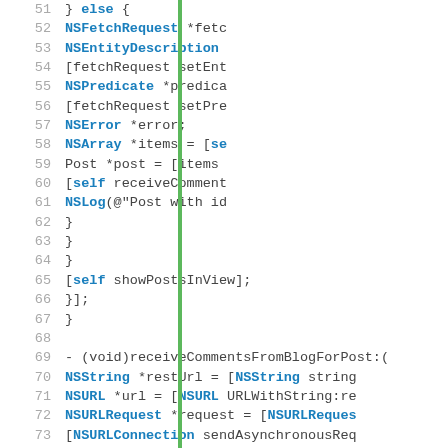[Figure (screenshot): Source code listing in Objective-C showing lines 51-80, with line numbers on the left, a green vertical bar separator, and syntax-highlighted code on the right. Keywords in bold blue, regular code in dark gray.]